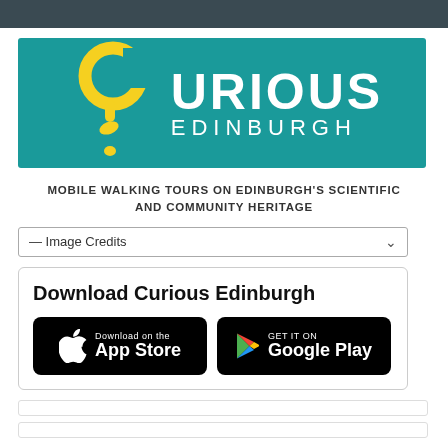[Figure (logo): Curious Edinburgh logo — teal background with yellow question-mark figure and white text reading CURIOUS EDINBURGH]
MOBILE WALKING TOURS ON EDINBURGH'S SCIENTIFIC AND COMMUNITY HERITAGE
— Image Credits
Download Curious Edinburgh
[Figure (screenshot): Download on the App Store button (black, Apple logo)]
[Figure (screenshot): GET IT ON Google Play button (black, Google Play logo)]